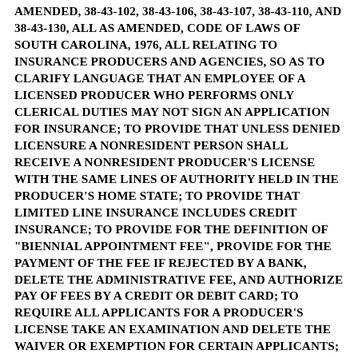AMENDED, 38-43-102, 38-43-106, 38-43-107, 38-43-110, AND 38-43-130, ALL AS AMENDED, CODE OF LAWS OF SOUTH CAROLINA, 1976, ALL RELATING TO INSURANCE PRODUCERS AND AGENCIES, SO AS TO CLARIFY LANGUAGE THAT AN EMPLOYEE OF A LICENSED PRODUCER WHO PERFORMS ONLY CLERICAL DUTIES MAY NOT SIGN AN APPLICATION FOR INSURANCE; TO PROVIDE THAT UNLESS DENIED LICENSURE A NONRESIDENT PERSON SHALL RECEIVE A NONRESIDENT PRODUCER'S LICENSE WITH THE SAME LINES OF AUTHORITY HELD IN THE PRODUCER'S HOME STATE; TO PROVIDE THAT LIMITED LINE INSURANCE INCLUDES CREDIT INSURANCE; TO PROVIDE FOR THE DEFINITION OF "BIENNIAL APPOINTMENT FEE", PROVIDE FOR THE PAYMENT OF THE FEE IF REJECTED BY A BANK, DELETE THE ADMINISTRATIVE FEE, AND AUTHORIZE PAY OF FEES BY A CREDIT OR DEBIT CARD; TO REQUIRE ALL APPLICANTS FOR A PRODUCER'S LICENSE TAKE AN EXAMINATION AND DELETE THE WAIVER OR EXEMPTION FOR CERTAIN APPLICANTS; TO PROVIDE THAT A PRODUCER MAY NOT TAKE THE SAME CONTINUING EDUCATION COURSE AND CASUALTY-LICENSED INSURANCE PRODUCER COURSE FOR CONTINUING EDUCATION CREDIT MORE THAN ONE TIME IN A BIENNIAL COMPLIANCE PERIOD AND